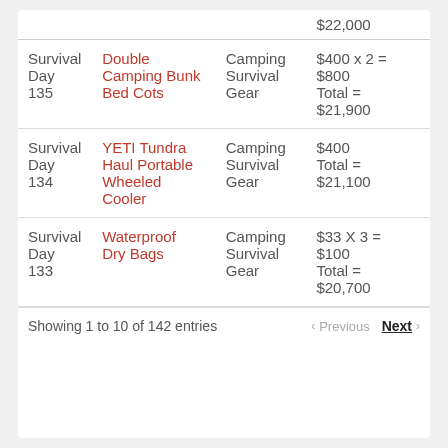| Day | Item | Category | Price |
| --- | --- | --- | --- |
|  |  |  | $22,000 |
| Survival Day 135 | Double Camping Bunk Bed Cots | Camping Survival Gear | $400 x 2 = $800 Total = $21,900 |
| Survival Day 134 | YETI Tundra Haul Portable Wheeled Cooler | Camping Survival Gear | $400 Total = $21,100 |
| Survival Day 133 | Waterproof Dry Bags | Camping Survival Gear | $33 X 3 = $100 Total = $20,700 |
Showing 1 to 10 of 142 entries   Previous  Next